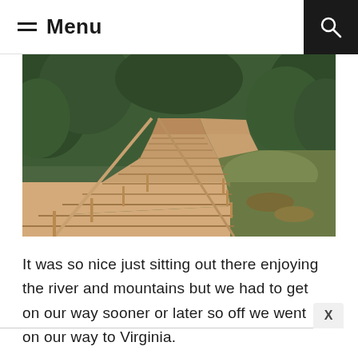Menu
[Figure (photo): A wooden boardwalk path winding through a lush green forested area with trees and shrubs on both sides, viewed from a low angle perspective.]
It was so nice just sitting out there enjoying the river and mountains but we had to get on our way sooner or later so off we went on our way to Virginia.